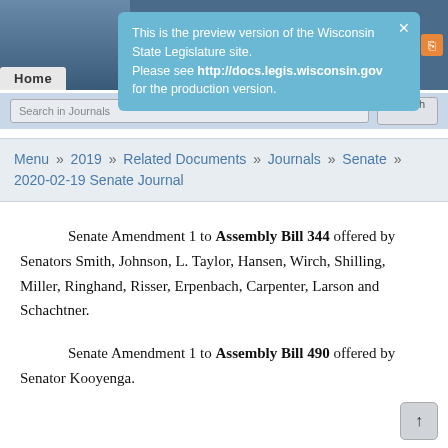[Figure (screenshot): Wisconsin State Legislature website header with capitol building background]
This is the preview version of the Wisconsin State Legislature site. Please see http://docs.legis.wisconsin.gov for the production version.
Search in Journals
Menu » 2019 » Related Documents » Journals » Senate » 2020-02-19 Senate Journal
Senate Amendment 1 to Assembly Bill 344 offered by Senators Smith, Johnson, L. Taylor, Hansen, Wirch, Shilling, Miller, Ringhand, Risser, Erpenbach, Carpenter, Larson and Schachtner.
Senate Amendment 1 to Assembly Bill 490 offered by Senator Kooyenga.